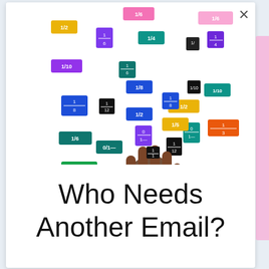[Figure (photo): A child's hand holding a small black fraction tile among many colorful fraction tiles scattered on a white surface. Tiles are in various colors (blue, green, purple, teal, orange, yellow, pink, black) showing fractions like 1/2, 1/3, 1/4, 1/6, 1/8, 1/10, 1/12.]
Who Needs Another Email?